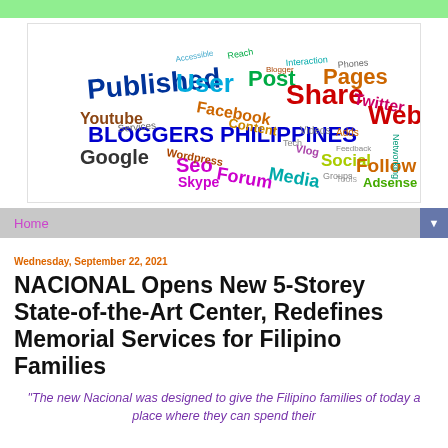[Figure (illustration): Bloggers Philippines word cloud logo featuring words like Published, User, Facebook, Post, Share, Pages, Twitter, Web, Google, Seo, Forum, Media, Social, Follow, Adsense and more in various colors]
Home
Wednesday, September 22, 2021
NACIONAL Opens New 5-Storey State-of-the-Art Center, Redefines Memorial Services for Filipino Families
“The new Nacional was designed to give the Filipino families of today a place where they can spend their